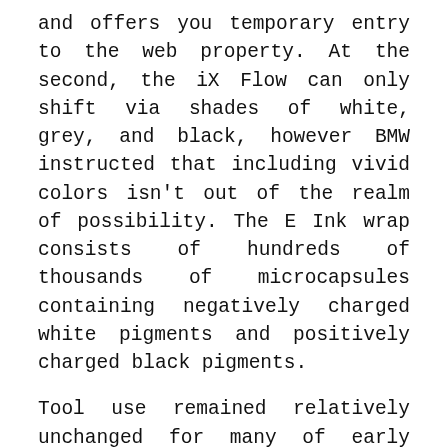and offers you temporary entry to the web property. At the second, the iX Flow can only shift via shades of white, grey, and black, however BMW instructed that including vivid colors isn't out of the realm of possibility. The E Ink wrap consists of hundreds of thousands of microcapsules containing negatively charged white pigments and positively charged black pigments.
Tool use remained relatively unchanged for many of early human history. Approximately 50,000 years in the past, the utilization of tools and a fancy set of behaviors emerged, believed by many archaeologists to be related to the emergence of totally fashionable language. Ions in batteries journey between the negative anode and optimistic cathode when producing electricity. In sodium-based batteries, anodes can develop